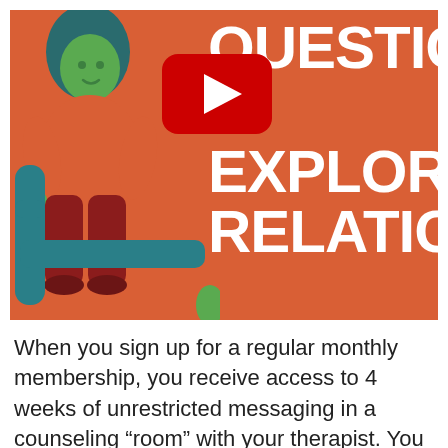[Figure (screenshot): A YouTube video thumbnail showing an animated illustration of a person with green skin and dark hair sitting in a teal armchair on an orange background. The person wears an orange top and red pants. Large white bold text on the right reads 'QUESTIO', 'O', 'EXPLORI', 'RELATIO' (partially cropped). A YouTube play button (red rectangle with white triangle) is centered in the upper area of the thumbnail.]
When you sign up for a regular monthly membership, you receive access to 4 weeks of unrestricted messaging in a counseling “room” with your therapist. You can also